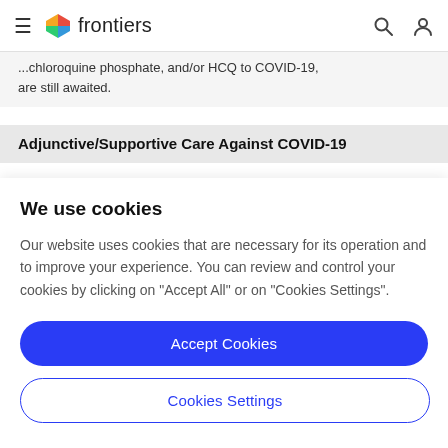frontiers
...chloroquine phosphate, and/or HCQ to COVID-19, are still awaited.
Adjunctive/Supportive Care Against COVID-19
We use cookies
Our website uses cookies that are necessary for its operation and to improve your experience. You can review and control your cookies by clicking on "Accept All" or on "Cookies Settings".
Accept Cookies
Cookies Settings